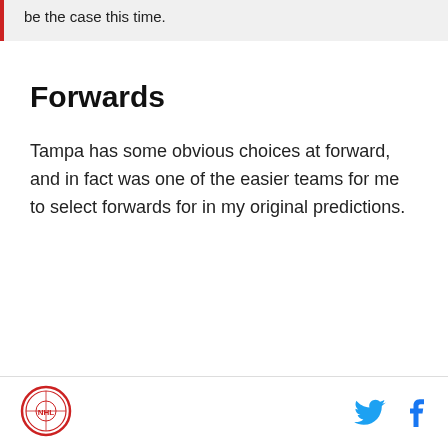be the case this time.
Forwards
Tampa has some obvious choices at forward, and in fact was one of the easier teams for me to select forwards for in my original predictions.
Logo and social media icons (Twitter, Facebook)